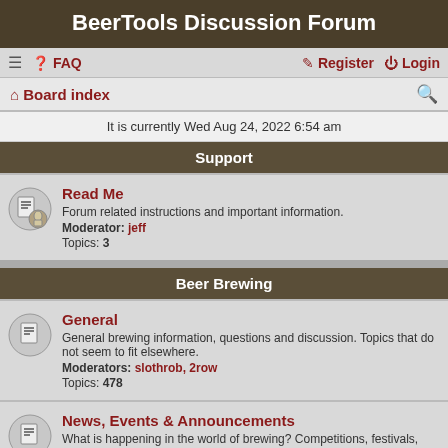BeerTools Discussion Forum
FAQ | Register | Login
Board index
It is currently Wed Aug 24, 2022 6:54 am
Support
Read Me
Forum related instructions and important information.
Moderator: jeff
Topics: 3
Beer Brewing
General
General brewing information, questions and discussion. Topics that do not seem to fit elsewhere.
Moderators: slothrob, 2row
Topics: 478
News, Events & Announcements
What is happening in the world of brewing? Competitions, festivals, seminars, tastings and club events. Personal experiences and victories.
Moderator: slothrob
Topics: 93
Tasting & Experiencing
Reactions to and impressions of commercial and home made beers and